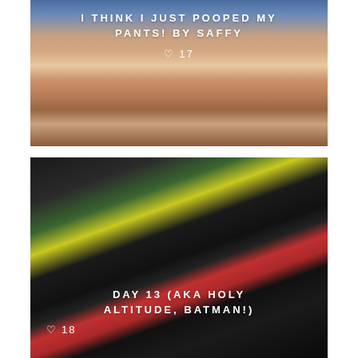[Figure (photo): Close-up photo of a young child with mouth wide open in a surprised expression, with blue elements in background]
I THINK I JUST POOPED MY PANTS! BY SAFFY
♡ 17
[Figure (photo): Photo of a Suunto altimeter/compass watch with red strap being held up, showing digital display]
DAY 13 (AKA HOLY ALTITUDE, BATMAN!)
♡ 18